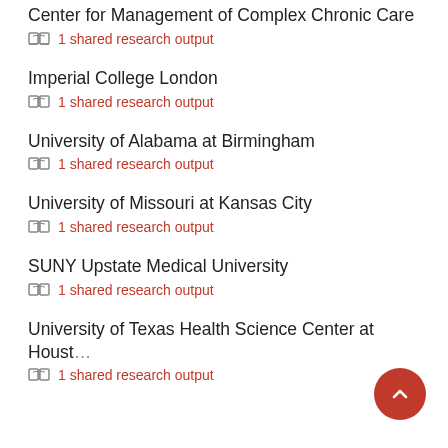Center for Management of Complex Chronic Care
1 shared research output
Imperial College London
1 shared research output
University of Alabama at Birmingham
1 shared research output
University of Missouri at Kansas City
1 shared research output
SUNY Upstate Medical University
1 shared research output
University of Texas Health Science Center at Houston
1 shared research output